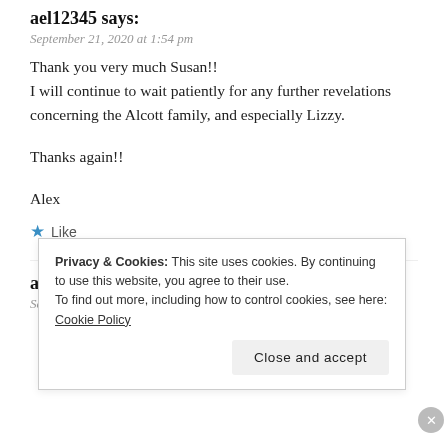ael12345 says:
September 21, 2020 at 1:54 pm
Thank you very much Susan!!
I will continue to wait patiently for any further revelations concerning the Alcott family, and especially Lizzy.
Thanks again!!
Alex
Like
ael12345 says:
September 21, 2020 at 2:15 pm
Privacy & Cookies: This site uses cookies. By continuing to use this website, you agree to their use.
To find out more, including how to control cookies, see here: Cookie Policy
Close and accept